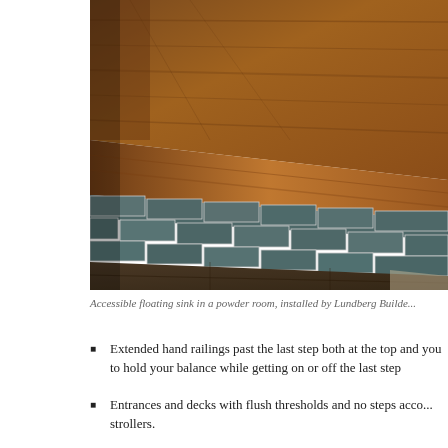[Figure (photo): Close-up photo of an accessible floating sink in a powder room, showing warm wood surface on top and blue-gray subway tiles on the side, with dark tile flooring below.]
Accessible floating sink in a powder room, installed by Lundberg Builde...
Extended hand railings past the last step both at the top and you to hold your balance while getting on or off the last step
Entrances and decks with flush thresholds and no steps acco... strollers.